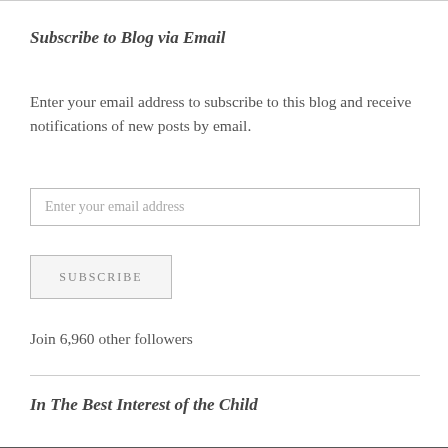Subscribe to Blog via Email
Enter your email address to subscribe to this blog and receive notifications of new posts by email.
Enter your email address
SUBSCRIBE
Join 6,960 other followers
In The Best Interest of the Child